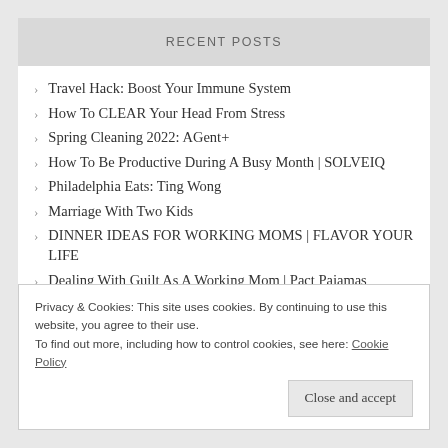RECENT POSTS
Travel Hack: Boost Your Immune System
How To CLEAR Your Head From Stress
Spring Cleaning 2022: AGent+
How To Be Productive During A Busy Month | SOLVEIQ
Philadelphia Eats: Ting Wong
Marriage With Two Kids
DINNER IDEAS FOR WORKING MOMS | FLAVOR YOUR LIFE
Dealing With Guilt As A Working Mom | Pact Pajamas
Washington DC Travel Guide: Royal Sonesta Washington DC Staycation
Privacy & Cookies: This site uses cookies. By continuing to use this website, you agree to their use.
To find out more, including how to control cookies, see here: Cookie Policy
Close and accept